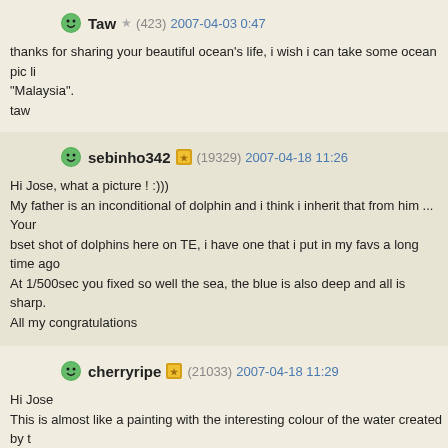Taw ★ (423) 2007-04-03 0:47
thanks for sharing your beautiful ocean's life, i wish i can take some ocean pic li "Malaysia".
taw
sebinho342 (19329) 2007-04-18 11:26
Hi Jose, what a picture ! :)))
My father is an inconditional of dolphin and i think i inherit that from him ... Your bset shot of dolphins here on TE, i have one that i put in my favs a long time ago
At 1/500sec you fixed so well the sea, the blue is also deep and all is sharp.
All my congratulations
cherryripe (21033) 2007-04-18 11:29
Hi Jose
This is almost like a painting with the interesting colour of the water created by t of the splash and that nice shiny dolphin in the middle. My daughter is next to m with the dolphin :-)
Regards
Nikki